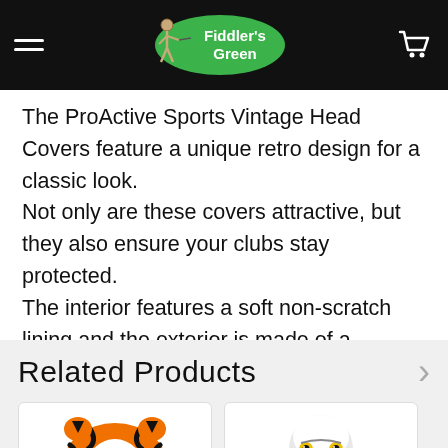Fiddler's Green — Navigation bar with hamburger menu and cart icon
The ProActive Sports Vintage Head Covers feature a unique retro design for a classic look. Not only are these covers attractive, but they also ensure your clubs stay protected. The interior features a soft non-scratch lining and the exterior is made of a durable leatherette. The built-in elastic band keeps the cover securely
VIEW ALL
Related Products
[Figure (photo): Orange and black striped tiger plush golf head cover]
[Figure (photo): Bald eagle plush golf head cover with white head and yellow beak]